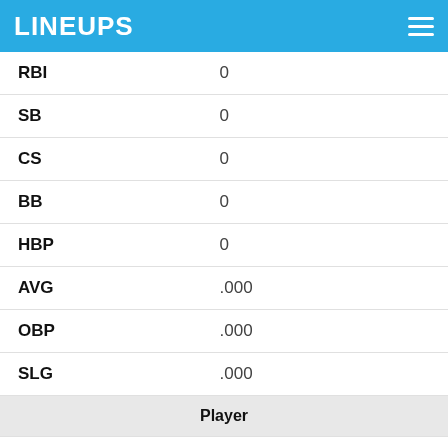LINEUPS
| RBI | 0 |
| SB | 0 |
| CS | 0 |
| BB | 0 |
| HBP | 0 |
| AVG | .000 |
| OBP | .000 |
| SLG | .000 |
| Player |  |
| Date | 5-22-22 |
| OPP | vs NYM |
| Score | W 11-3 |